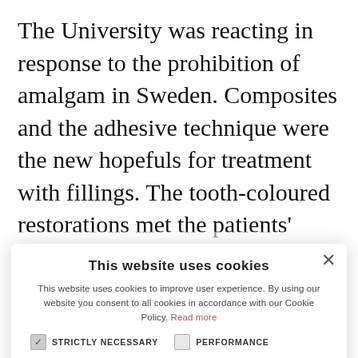The University was reacting in response to the prohibition of amalgam in Sweden. Composites and the adhesive technique were the new hopefuls for treatment with fillings. The tooth-coloured restorations met the patients' aesthetic desires. Dr
This website uses cookies
This website uses cookies to improve user experience. By using our website you consent to all cookies in accordance with our Cookie Policy. Read more
STRICTLY NECESSARY
PERFORMANCE
TARGETING
FUNCTIONALITY
ACCEPT ALL
DECLINE ALL
SHOW DETAILS